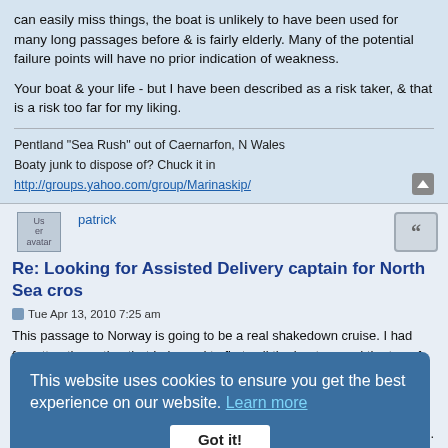can easily miss things, the boat is unlikely to have been used for many long passages before & is fairly elderly. Many of the potential failure points will have no prior indication of weakness.
Your boat & your life - but I have been described as a risk taker, & that is a risk too far for my liking.
Pentland "Sea Rush" out of Caernarfon, N Wales
Boaty junk to dispose of? Chuck it in http://groups.yahoo.com/group/Marinaskip/
[Figure (screenshot): User avatar placeholder image for user 'patrick']
Re: Looking for Assisted Delivery captain for North Sea cros
Tue Apr 13, 2010 7:25 am
This website uses cookies to ensure you get the best experience on our website. Learn more
Got it!
If a man speaks at sea where there is no woman to hear, is he still wrong?